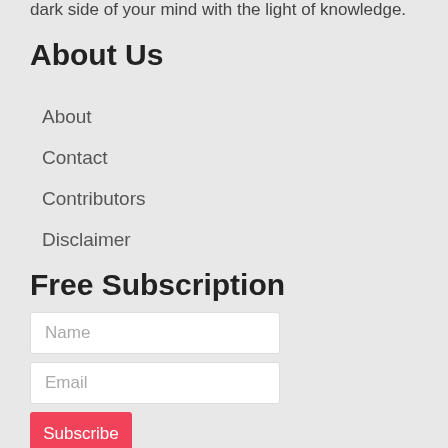dark side of your mind with the light of knowledge.
About Us
About
Contact
Contributors
Disclaimer
Free Subscription
Name
Email
Subscribe